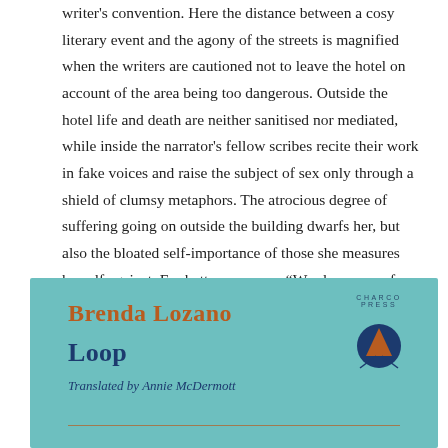writer's convention. Here the distance between a cosy literary event and the agony of the streets is magnified when the writers are cautioned not to leave the hotel on account of the area being too dangerous. Outside the hotel life and death are neither sanitised nor mediated, while inside the narrator's fellow scribes recite their work in fake voices and raise the subject of sex only through a shield of clumsy metaphors. The atrocious degree of suffering going on outside the building dwarfs her, but also the bloated self-importance of those she measures herself against. For better or worse, “Words carry us far away, always so far away from reality.”
[Figure (other): Book cover for 'Loop' by Brenda Lozano, translated by Annie McDermott, published by Charco Press. Teal/turquoise background with the author name in bold brown/orange serif font, title in bold dark blue serif font, translator credit in dark blue italic, a thin brown horizontal line near the bottom, and the Charco Press logo (circle with triangle/arrow) in the top right.]